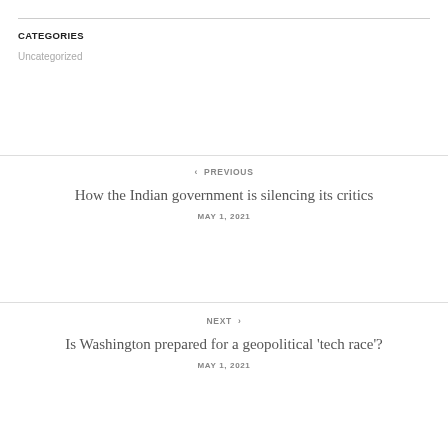CATEGORIES
Uncategorized
‹  PREVIOUS
How the Indian government is silencing its critics
MAY 1, 2021
NEXT  ›
Is Washington prepared for a geopolitical 'tech race'?
MAY 1, 2021